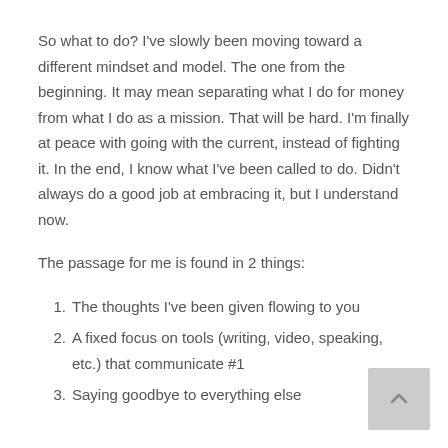So what to do? I've slowly been moving toward a different mindset and model. The one from the beginning. It may mean separating what I do for money from what I do as a mission. That will be hard. I'm finally at peace with going with the current, instead of fighting it. In the end, I know what I've been called to do. Didn't always do a good job at embracing it, but I understand now.
The passage for me is found in 2 things:
1. The thoughts I've been given flowing to you
2. A fixed focus on tools (writing, video, speaking, etc.) that communicate #1
3. Saying goodbye to everything else